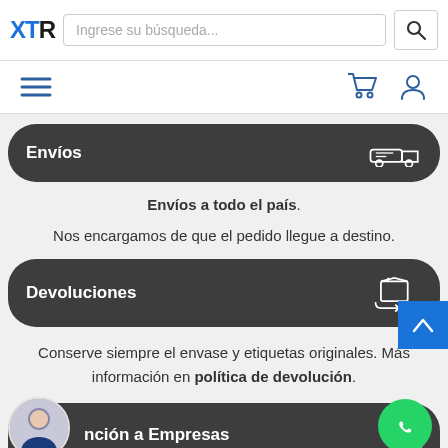XTR — Ingrese su búsqueda...
[Figure (screenshot): Navigation bar with hamburger menu icon, shopping cart icon, and user account icon]
[Figure (screenshot): Dark pill section labeled Envíos with delivery truck icon]
Envíos a todo el país.
Nos encargamos de que el pedido llegue a destino.
[Figure (screenshot): Dark pill section labeled Devoluciones with return box icon and blue scroll-to-top button]
Conserve siempre el envase y etiquetas originales. Más información en política de devolución.
[Figure (screenshot): Dark pill section partially showing nción a Empresas with avatar and WhatsApp button]
Atención personalizada a empresas y al gremio.